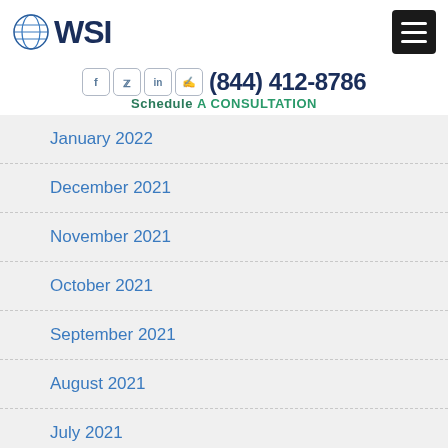WSI logo and navigation header
(844) 412-8786
Schedule A CONSULTATION
January 2022
December 2021
November 2021
October 2021
September 2021
August 2021
July 2021
June 2021
May 2021